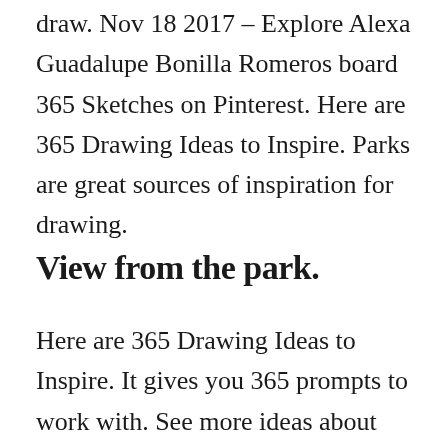draw. Nov 18 2017 – Explore Alexa Guadalupe Bonilla Romeros board 365 Sketches on Pinterest. Here are 365 Drawing Ideas to Inspire. Parks are great sources of inspiration for drawing.
View from the park.
Here are 365 Drawing Ideas to Inspire. It gives you 365 prompts to work with. See more ideas about cute drawings kawaii drawings sketches. Cute Easy Drawings 365 Sketches has a variety pictures that linked